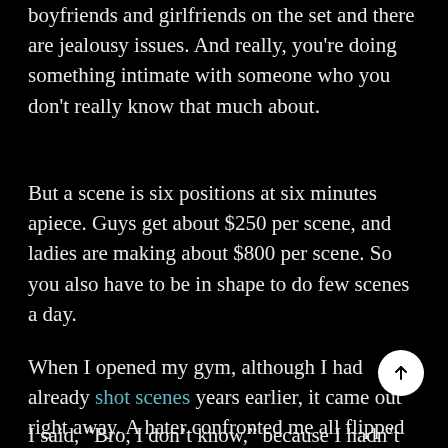boyfriends and girlfriends on the set and there are jealousy issues. And really, you're doing something intimate with someone who you don't really know that much about.
But a scene is six positions at six minutes apiece. Guys get about $250 per scene, and ladies are making about $800 per scene. So you also have to be in shape to do few scenes a day.
When I opened my gym, although I had already shot scenes years earlier, it came out right away. A hater confronted me all flipped out: “I saw your tattoos!”
I said, “Bro, I don’t know,” because I hadn’t